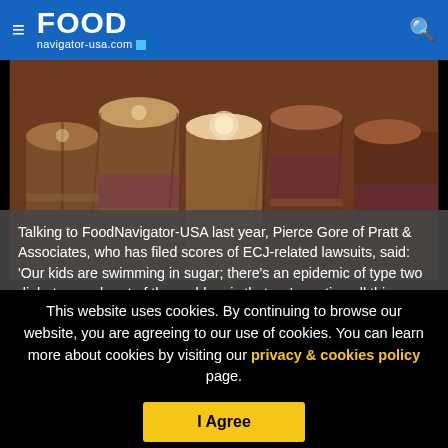FOOD navigator-usa.com
[Figure (photo): Close-up photo of cut sugar cane stalks showing cross-sections and fibrous interior]
Talking to FoodNavigator-USA last year, Pierce Gore of Pratt & Associates, who has filed scores of ECJ-related lawsuits, said: 'Our kids are swimming in sugar; there's an epidemic of type two diabetes, and part of the problem is that we're eating all this sugar without even realizing it because it's hidden behind
This website uses cookies. By continuing to browse our website, you are agreeing to our use of cookies. You can learn more about cookies by visiting our privacy & cookies policy page.
I Agree